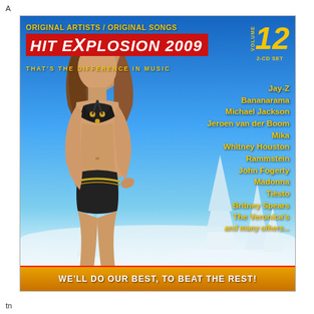A
[Figure (illustration): Hit Explosion 2009 Volume 12 2-CD Set album cover. Features a woman in a black bikini against a winter snow scene with snow-covered trees and blue sky. Includes artist names: Jay-Z, Bananarama, Michael Jackson, Jeroen van der Boom, Mika, Whitney Houston, Rammstein, John Fogerty, Madonna, Tiesto, Britney Spears, The Veronica's, and many others...]
tn